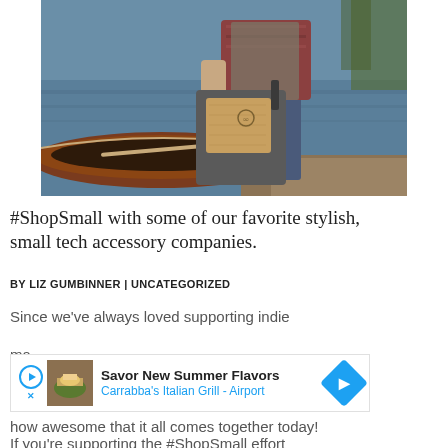[Figure (photo): Person standing near a canoe by a lake, holding a grey and wood felt laptop sleeve bag, wearing a plaid shirt and jeans]
#ShopSmall with some of our favorite stylish, small tech accessory companies.
BY LIZ GUMBINNER | UNCATEGORIZED
Since we've always loved supporting indie
[Figure (other): Advertisement: Savor New Summer Flavors - Carrabba's Italian Grill - Airport]
how awesome that it all comes together today! If you're supporting the #ShopSmall effort